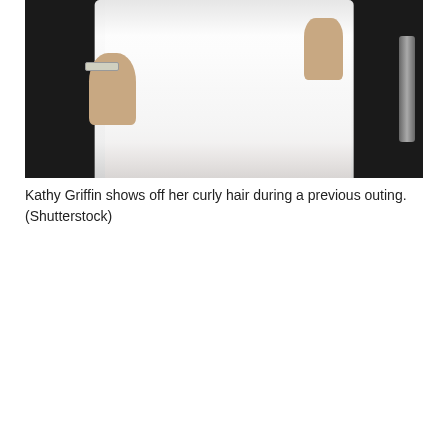[Figure (photo): Photo of Kathy Griffin wearing a white lace dress, showing her torso and hands. She wears a watch on her left wrist. The background is dark.]
Kathy Griffin shows off her curly hair during a previous outing. (Shutterstock)